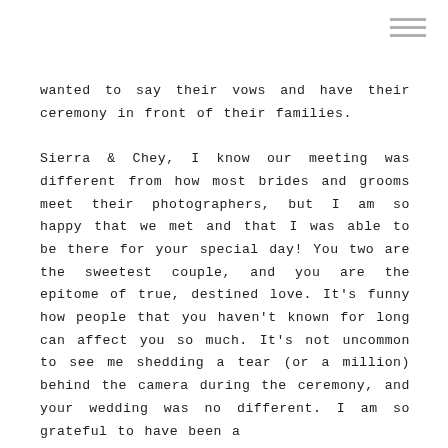wanted to say their vows and have their ceremony in front of their families.

Sierra & Chey, I know our meeting was different from how most brides and grooms meet their photographers, but I am so happy that we met and that I was able to be there for your special day! You two are the sweetest couple, and you are the epitome of true, destined love. It's funny how people that you haven't known for long can affect you so much. It's not uncommon to see me shedding a tear (or a million) behind the camera during the ceremony, and your wedding was no different. I am so grateful to have been a